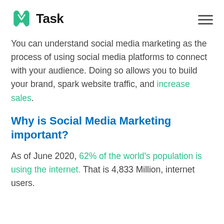nTask
You can understand social media marketing as the process of using social media platforms to connect with your audience. Doing so allows you to build your brand, spark website traffic, and increase sales.
Why is Social Media Marketing important?
As of June 2020, 62% of the world's population is using the internet. That is 4,833 Million, internet users.